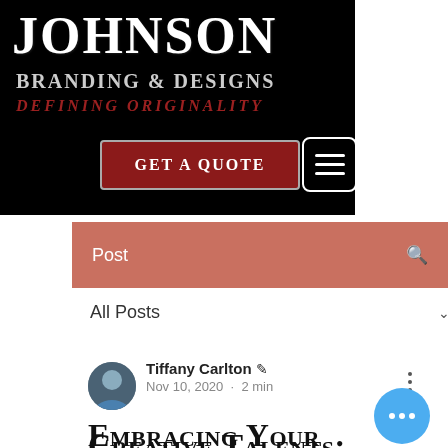[Figure (screenshot): Johnson Branding & Designs logo on black background with 'Get a Quote' button and hamburger menu icon]
JOHNSON
BRANDING & DESIGNS
DEFINING ORIGINALITY
GET A QUOTE
Post
All Posts
Tiffany Carlton
Nov 10, 2020 · 2 min
Embracing Your Creative Talents: